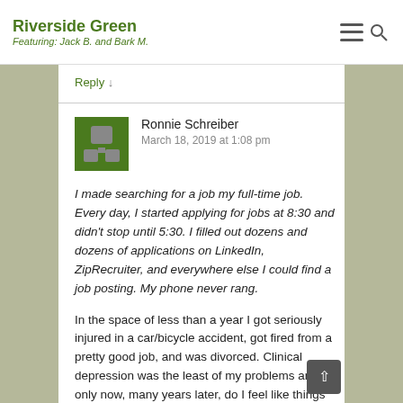Riverside Green
Featuring: Jack B. and Bark M.
Reply ↓
Ronnie Schreiber
March 18, 2019 at 1:08 pm
I made searching for a job my full-time job. Every day, I started applying for jobs at 8:30 and didn't stop until 5:30. I filled out dozens and dozens of applications on LinkedIn, ZipRecruiter, and everywhere else I could find a job posting. My phone never rang.
In the space of less than a year I got seriously injured in a car/bicycle accident, got fired from a pretty good job, and was divorced. Clinical depression was the least of my problems and only now, many years later, do I feel like things